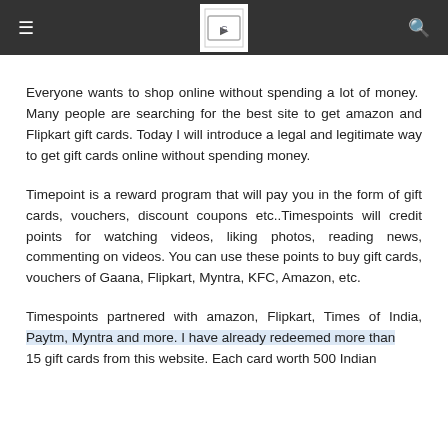≡ [logo] 🔍
Everyone wants to shop online without spending a lot of money.  Many people are searching for the best site to get amazon and Flipkart gift cards. Today I will introduce a legal and legitimate way to get gift cards online without spending money.
Timepoint is a reward program that will pay you in the form of gift cards, vouchers, discount coupons etc..Timespoints will credit points for watching videos, liking photos, reading news, commenting on videos. You can use these points to buy gift cards, vouchers of Gaana, Flipkart, Myntra, KFC, Amazon, etc.
Timespoints partnered with amazon, Flipkart, Times of India, Paytm, Myntra and more. I have already redeemed more than 15 gift cards from this website. Each card worth 500 Indian